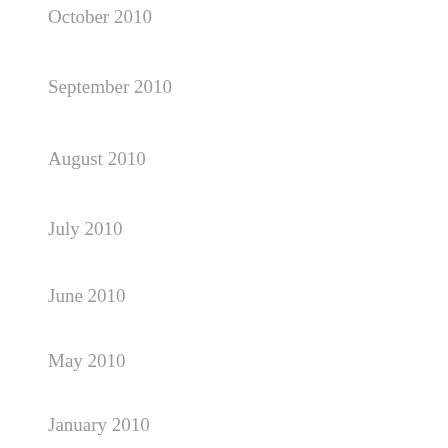October 2010
September 2010
August 2010
July 2010
June 2010
May 2010
January 2010
Categories